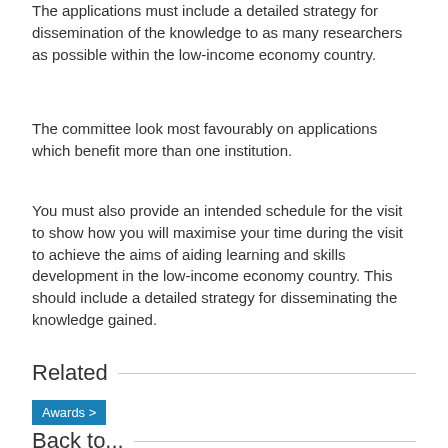The applications must include a detailed strategy for dissemination of the knowledge to as many researchers as possible within the low-income economy country.
The committee look most favourably on applications which benefit more than one institution.
You must also provide an intended schedule for the visit to show how you will maximise your time during the visit to achieve the aims of aiding learning and skills development in the low-income economy country. This should include a detailed strategy for disseminating the knowledge gained.
Related
Awards >
Back to...